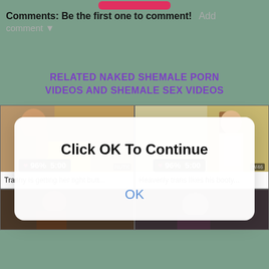Comments: Be the first one to comment!  Add comment ▼
RELATED NAKED SHEMALE PORN VIDEOS AND SHEMALE SEX VIDEOS
[Figure (screenshot): Two video thumbnails side by side: left shows woman on yellow background with badge '❤ 96% 5:00', title 'Tranny is getting her tight butt...'; right shows woman outdoors with badge '❤ 96% 5:00', title 'Heavenly trans likes his booty...']
[Figure (screenshot): Two video thumbnails side by side partially visible at bottom of page]
[Figure (screenshot): Modal dialog overlay with text 'Click OK To Continue' and blue 'OK' button]